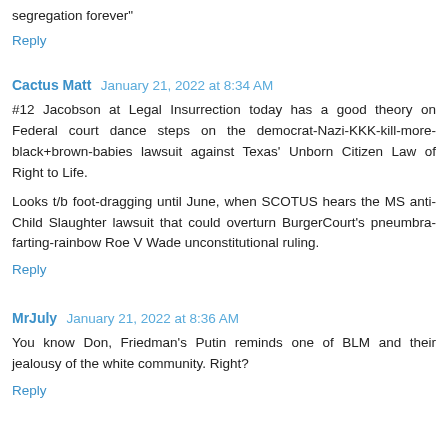segregation forever"
Reply
Cactus Matt  January 21, 2022 at 8:34 AM
#12 Jacobson at Legal Insurrection today has a good theory on Federal court dance steps on the democrat-Nazi-KKK-kill-more-black+brown-babies lawsuit against Texas' Unborn Citizen Law of Right to Life.

Looks t/b foot-dragging until June, when SCOTUS hears the MS anti-Child Slaughter lawsuit that could overturn BurgerCourt's pneumbra-farting-rainbow Roe V Wade unconstitutional ruling.
Reply
MrJuly  January 21, 2022 at 8:36 AM
You know Don, Friedman's Putin reminds one of BLM and their jealousy of the white community. Right?
Reply